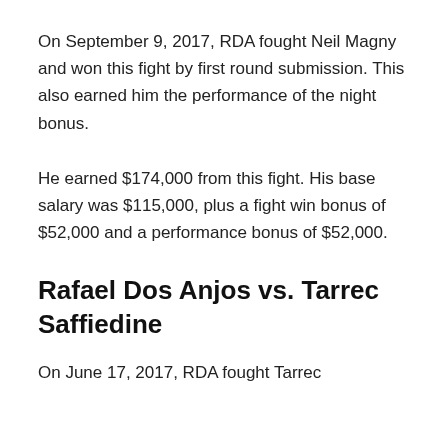On September 9, 2017, RDA fought Neil Magny and won this fight by first round submission. This also earned him the performance of the night bonus.
He earned $174,000 from this fight. His base salary was $115,000, plus a fight win bonus of $52,000 and a performance bonus of $52,000.
Rafael Dos Anjos vs. Tarrec Saffiedine
On June 17, 2017, RDA fought Tarrec...